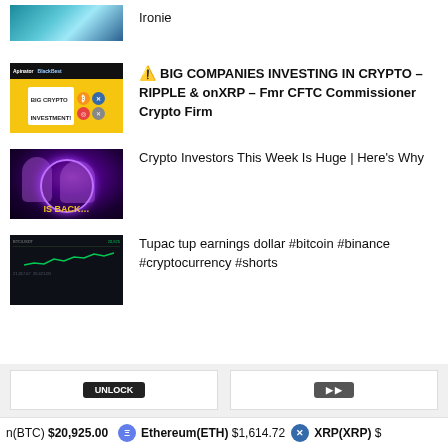Ironie
⚠ BIG COMPANIES INVESTING IN CRYPTO – RIPPLE & onXRP – Fmr CFTC Commissioner Crypto Firm
Crypto Investors This Week Is Huge | Here's Why
Tupac tup earnings dollar #bitcoin #binance #cryptocurrency #shorts
n(BTC) $20,925.00   Ethereum(ETH) $1,614.72   XRP(XRP) $